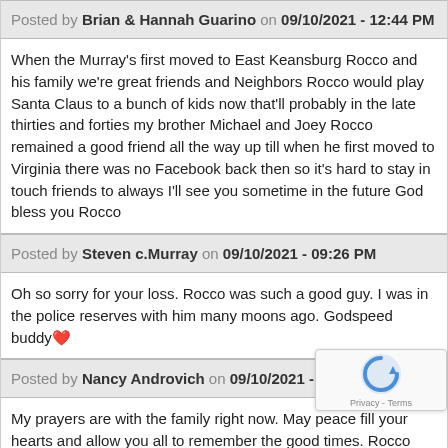Posted by Brian & Hannah Guarino on 09/10/2021 - 12:44 PM
When the Murray's first moved to East Keansburg Rocco and his family we're great friends and Neighbors Rocco would play Santa Claus to a bunch of kids now that'll probably in the late thirties and forties my brother Michael and Joey Rocco remained a good friend all the way up till when he first moved to Virginia there was no Facebook back then so it's hard to stay in touch friends to always I'll see you sometime in the future God bless you Rocco
Posted by Steven c.Murray on 09/10/2021 - 09:26 PM
Oh so sorry for your loss. Rocco was such a good guy. I was in the police reserves with him many moons ago. Godspeed buddy&#10084;&#65039;
Posted by Nancy Androvich on 09/10/2021 - 10:53 PM
My prayers are with the family right now. May peace fill your hearts and allow you all to remember the good times. Rocco had a huge heart. May the perpetual light shine upon him and may he Rest In Peace.
Posted by Mary Ball Messina on 09/10/2021 - 11:06 PM